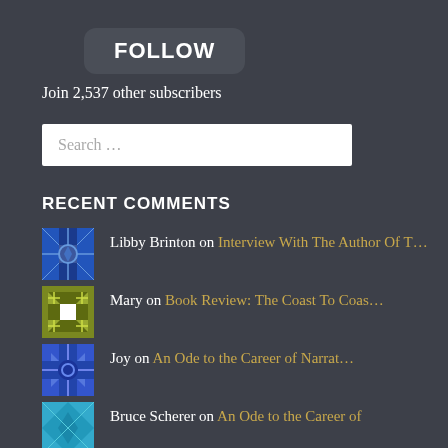[Figure (other): FOLLOW button - dark rounded rectangle]
Join 2,537 other subscribers
Search …
RECENT COMMENTS
Libby Brinton on Interview With The Author Of T…
Mary on Book Review: The Coast To Coas…
Joy on An Ode to the Career of Narrat…
Bruce Scherer on An Ode to the Career of